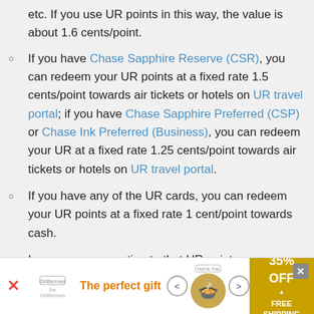etc. If you use UR points in this way, the value is about 1.6 cents/point.
If you have Chase Sapphire Reserve (CSR), you can redeem your UR points at a fixed rate 1.5 cents/point towards air tickets or hotels on UR travel portal; if you have Chase Sapphire Preferred (CSP) or Chase Ink Preferred (Business), you can redeem your UR at a fixed rate 1.25 cents/point towards air tickets or hotels on UR travel portal.
If you have any of the UR cards, you can redeem your UR points at a fixed rate 1 cent/point towards cash.
In summary, we estimate that UR points are
[Figure (other): Advertisement banner: The perfect gift, 35% OFF + FREE SHIPPING, with food product imagery and navigation arrows]